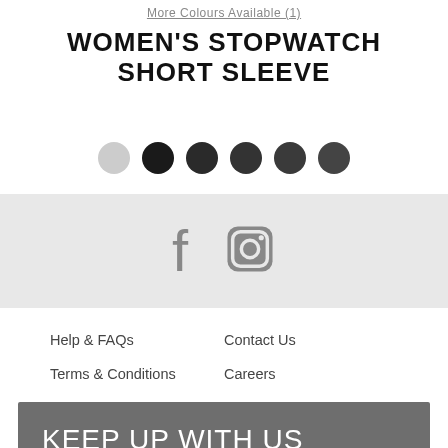More Colours Available (1)
WOMEN'S STOPWATCH SHORT SLEEVE
[Figure (other): Row of six circular colour swatches: one light grey and five dark/black dots]
[Figure (other): Social media icons bar on light grey background: Facebook 'f' icon and Instagram camera icon]
Help & FAQs
Contact Us
Terms & Conditions
Careers
KEEP UP WITH US
Join our email list to keep up to date with the latest